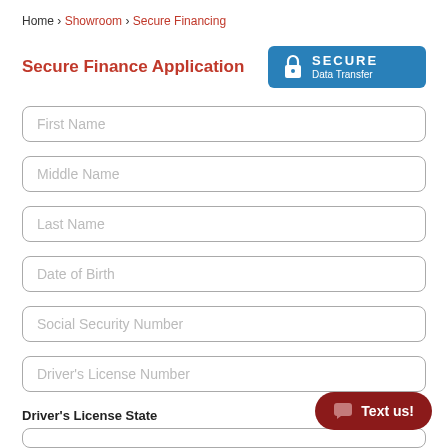Home › Showroom › Secure Financing
Secure Finance Application
[Figure (other): Blue Secure Data Transfer badge with lock icon]
First Name
Middle Name
Last Name
Date of Birth
Social Security Number
Driver's License Number
Driver's License State